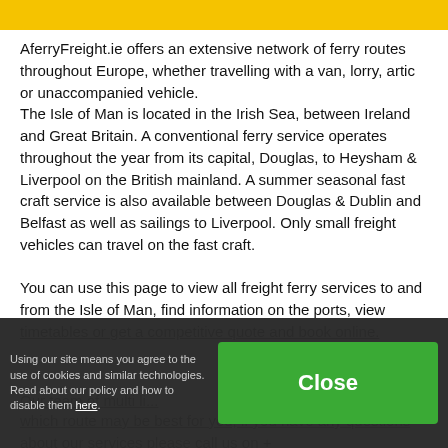[Figure (other): Yellow header bar]
AferryFreight.ie offers an extensive network of ferry routes throughout Europe, whether travelling with a van, lorry, artic or unaccompanied vehicle. The Isle of Man is located in the Irish Sea, between Ireland and Great Britain. A conventional ferry service operates throughout the year from its capital, Douglas, to Heysham & Liverpool on the British mainland. A summer seasonal fast craft service is also available between Douglas & Dublin and Belfast as well as sailings to Liverpool. Only small freight vehicles can travel on the fast craft.
You can use this page to view all freight ferry services to and from the Isle of Man, find information on the ports, view timetables or get a competitive quote and book online.
Our team of multi li... which route may be best for you; if you have any questions about our services please call us on +
Using our site means you agree to the use of cookies and similar technologies. Read about our policy and how to disable them here.
Close